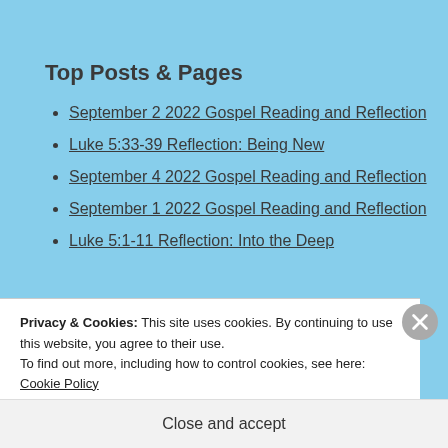Top Posts & Pages
September 2 2022 Gospel Reading and Reflection
Luke 5:33-39 Reflection: Being New
September 4 2022 Gospel Reading and Reflection
September 1 2022 Gospel Reading and Reflection
Luke 5:1-11 Reflection: Into the Deep
Privacy & Cookies: This site uses cookies. By continuing to use this website, you agree to their use.
To find out more, including how to control cookies, see here: Cookie Policy
Close and accept